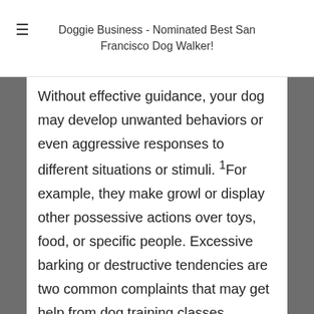≡ Doggie Business - Nominated Best San Francisco Dog Walker!
Without effective guidance, your dog may develop unwanted behaviors or even aggressive responses to different situations or stimuli. ¹For example, they make growl or display other possessive actions over toys, food, or specific people. Excessive barking or destructive tendencies are two common complaints that may get help from dog training classes.
Improve Control and Safety For Your Dog